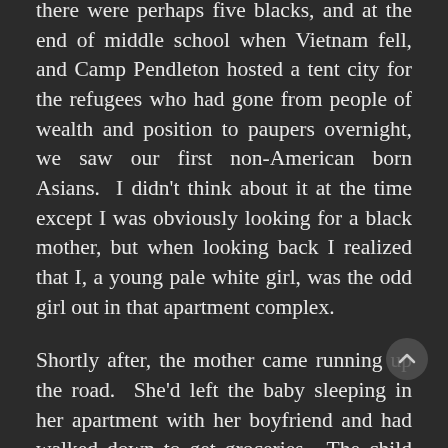there were perhaps five blacks, and at the end of middle school when Vietnam fell, and Camp Pendleton hosted a tent city for the refugees who had gone from people of wealth and position to paupers overnight, we saw our first non-American born Asians.  I didn't think about it at the time except I was obviously looking for a black mother, but when looking back I realized that I, a young pale white girl, was the odd girl out in that apartment complex.
Shortly after, the mother came running up the road.  She'd left the baby sleeping in her apartment with her boyfriend and had walked down to get groceries.  The child had woken up and found the boyfriend asleep and the mother gone, and had tried to find her down what little he'd remembered about the much-traveled path to the grocery store.  I had the distinct notion that the boyfriend wasn't going to be on the scene for much longer.  I gave up the baby, a batch of hamburger coupons, and drove the two to another apartment complex farther down the road.  Then,